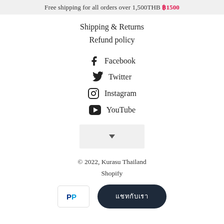Free shipping for all orders over 1,500THB ฿1500
Shipping & Returns
Refund policy
Facebook
Twitter
Instagram
YouTube
[Figure (other): Language/region selector dropdown box with a down arrow]
© 2022, Kurasu Thailand
Shopify
[Figure (other): PayPal payment icon in a white bordered box]
[Figure (other): Dark navy rounded pill button with Thai text characters]